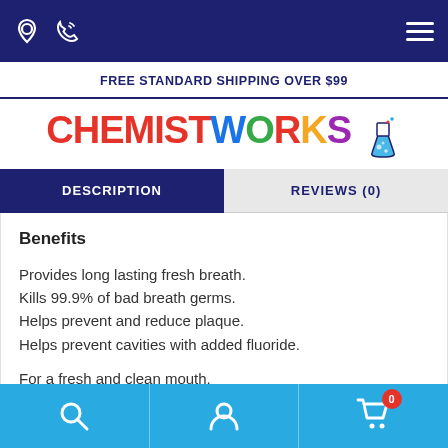FREE STANDARD SHIPPING OVER $99
[Figure (logo): ChemistWorks logo with colorful letters and flask icon]
DESCRIPTION | REVIEWS (0)
Benefits
Provides long lasting fresh breath.
Kills 99.9% of bad breath germs.
Helps prevent and reduce plaque.
Helps prevent cavities with added fluoride.
For a fresh and clean mouth.